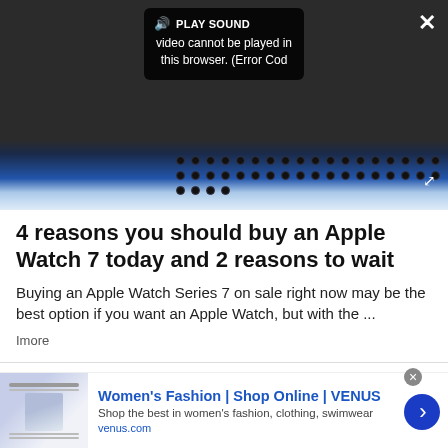[Figure (screenshot): Video player showing error overlay: speaker icon, PLAY SOUND label, and error message 'Video cannot be played in this browser. (Error Cod' on dark background. Close (×) and expand buttons visible. Below is a photo of an Apple Watch band with dots pattern on blue background.]
4 reasons you should buy an Apple Watch 7 today and 2 reasons to wait
Buying an Apple Watch Series 7 on sale right now may be the best option if you want an Apple Watch, but with the ...
Imore
[Figure (screenshot): Advertisement for Women's Fashion | Shop Online | VENUS. Shows thumbnail image of VENUS website on the left, blue bold text header, description 'Shop the best in women's fashion, clothing, swimwear', venus.com URL in blue, and a blue circular arrow button on the right. Ad close button (⊗) and ad tag icon visible.]